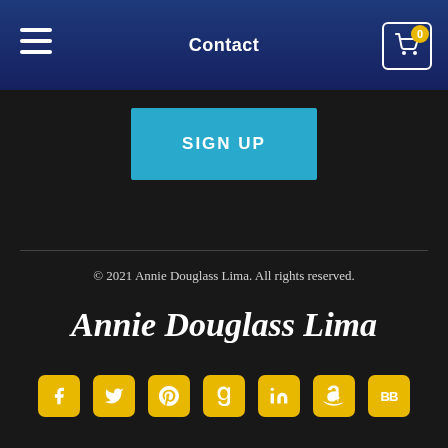Contact
SIGN UP
© 2021 Annie Douglass Lima. All rights reserved.
Annie Douglass Lima
[Figure (infographic): Row of 7 social media icons (Facebook, Twitter, Pinterest, Goodreads, LinkedIn, Amazon, BookBub) in yellow rounded square buttons]